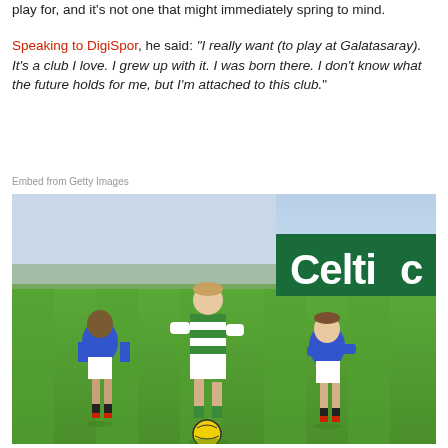play for, and it's not one that might immediately spring to mind.
Speaking to DigiSpor, he said: "I really want (to play at Galatasaray). It's a club I love. I grew up with it. I was born there. I don't know what the future holds for me, but I'm attached to this club."
Embed from Getty Images
[Figure (photo): A Celtic player in green and white hooped kit dribbles a ball on a grass pitch, with two Rangers players in blue kits around him. A green Celtic advertising board is visible in the background.]